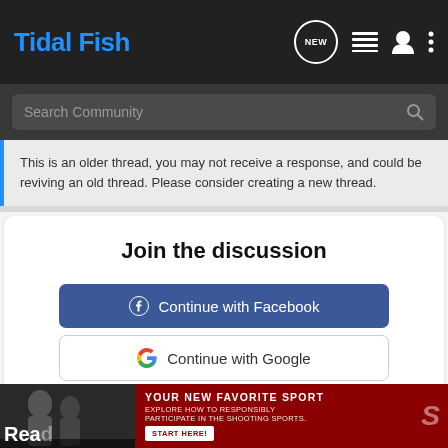Tidal Fish
Search Community
This is an older thread, you may not receive a response, and could be reviving an old thread. Please consider creating a new thread.
Join the discussion
Continue with Facebook
Continue with Google
or sign up with email
[Figure (screenshot): Advertisement banner: YOUR NEW FAVORITE SPORT - EXPLORE HOW TO RESPONSIBLY PARTICIPATE IN THE SHOOTING SPORTS. START HERE!]